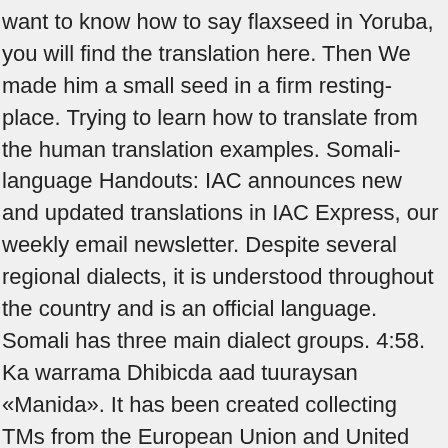want to know how to say flaxseed in Yoruba, you will find the translation here. Then We made him a small seed in a firm resting-place. Trying to learn how to translate from the human translation examples. Somali-language Handouts: IAC announces new and updated translations in IAC Express, our weekly email newsletter. Despite several regional dialects, it is understood throughout the country and is an official language. Somali has three main dialect groups. 4:58. Ka warrama Dhibicda aad tuuraysan «Manida». It has been created collecting TMs from the European Union and United Nations, and aligning the best domain-specific multilingual websites. Nouns are declined as well in Somali and are modified by an article. As a member of the Cushitic languages, it's considered an inflectional language. Interesting Facts About Somali. We're part of Translated, so if you ever need professional translation services, then go checkout our main site. Communicate smoothly and use a free online translator to instantly translate words, phrases, or documents between 90+